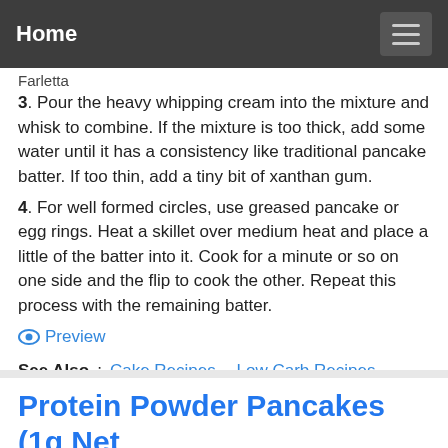Home
Farletta
3. Pour the heavy whipping cream into the mixture and whisk to combine. If the mixture is too thick, add some water until it has a consistency like traditional pancake batter. If too thin, add a tiny bit of xanthan gum.
4. For well formed circles, use greased pancake or egg rings. Heat a skillet over medium heat and place a little of the batter into it. Cook for a minute or so on one side and the flip to cook the other. Repeat this process with the remaining batter.
Preview
See Also: Cake Recipes, Low Carb Recipes  Show details
Protein Powder Pancakes (1g Net Carbs!) Little Pine ...